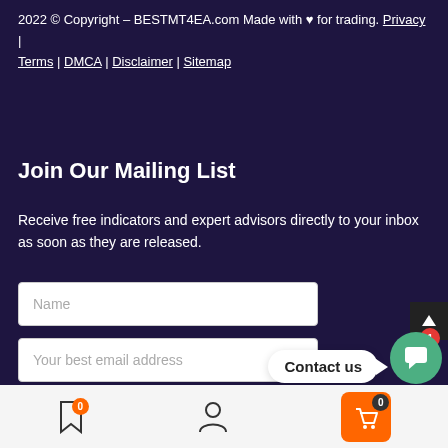2022 © Copyright – BESTMT4EA.com Made with ♥ for trading. Privacy | Terms | DMCA | Disclaimer | Sitemap
Join Our Mailing List
Receive free indicators and expert advisors directly to your inbox as soon as they are released.